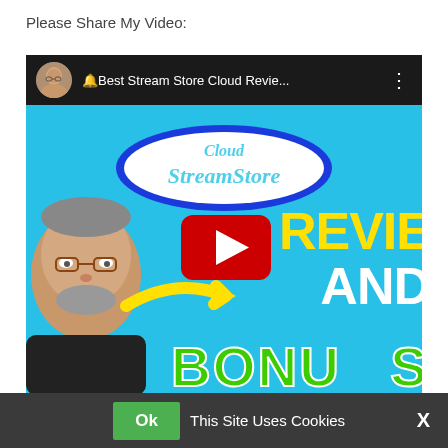Please Share My Video:
[Figure (screenshot): YouTube video thumbnail for 'Best Stream Store Cloud Revie...' showing Cloud StreamStore logo in an oval, a man's face on the left, a YouTube play button in the center, and text reading REVIEW AND BONUS on a bright blue background. A cookie consent bar is visible at the bottom.]